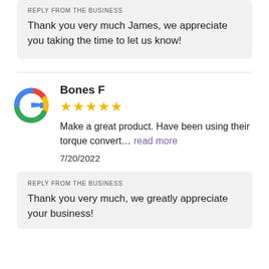REPLY FROM THE BUSINESS
Thank you very much James, we appreciate you taking the time to let us know!
Bones F
★★★★★
Make a great product. Have been using their torque convert… read more
7/20/2022
REPLY FROM THE BUSINESS
Thank you very much, we greatly appreciate your business!